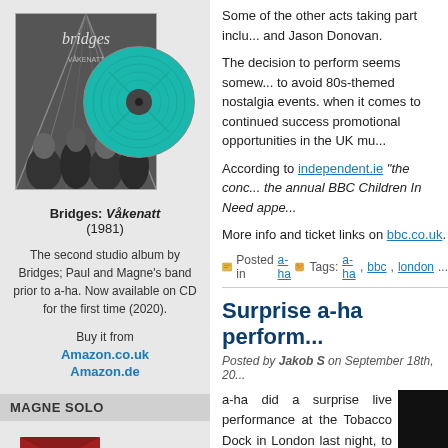[Figure (photo): Bridges: Våkenatt album cover (1981) showing a black and white photo of people with architectural elements, beside a teal/green vinyl record]
Bridges: Våkenatt (1981)
The second studio album by Bridges; Paul and Magne's band prior to a-ha. Now available on CD for the first time (2020).
Buy it from
Amazon.co.uk
Amazon.de
MAGNE SOLO
Some of the other acts taking part inclu... and Jason Donovan.
The decision to perform seems somew... to avoid 80s-themed nostalgia events. when it comes to continued success promotional opportunities in the UK mu...
According to independent.ie "the conc... the annual BBC Children In Need appe...
More info and ticket links on bbc.co.uk.
Posted in a-ha | Tags: a-ha, bbc, london
Surprise a-ha perform...
Posted by Jakob S on September 18th, 20...
a-ha did a surprise live performance at the Tobacco Dock in London last night, to entertain guests at an Emporio